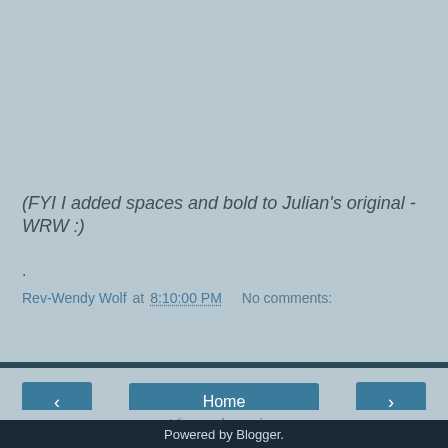(FYI I added spaces and bold to Julian's original - WRW :)
.
Rev-Wendy Wolf at 8:10:00 PM   No comments:
Share
‹
Home
›
View web version
Powered by Blogger.